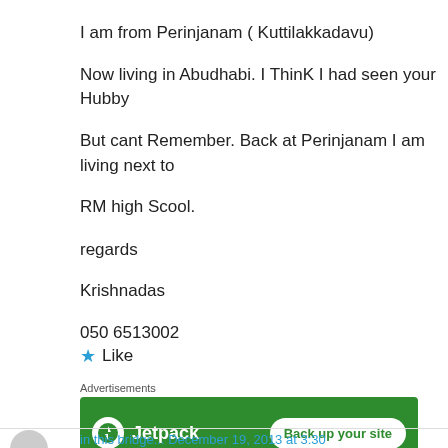I am from Perinjanam ( Kuttilakkadavu)
Now living in Abudhabi. I ThinK I had seen your Hubby
But cant Remember. Back at Perinjanam I am living next to
RM high Scool.

regards
Krishnadas
050 6513002
[Figure (other): Like button with blue star icon]
Advertisements
[Figure (other): Jetpack advertisement banner with green background, Jetpack logo and 'Back up your site' button]
REPORT THIS AD
in this bridge... December 19, 2013 at 3:30